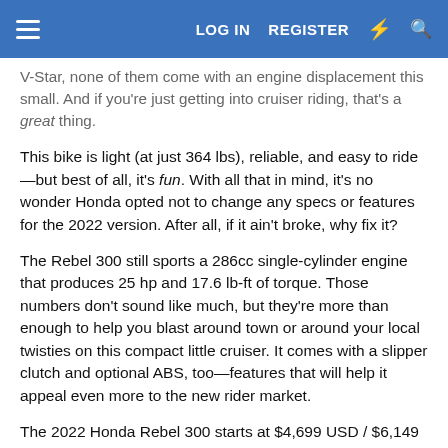LOG IN  REGISTER
V-Star, none of them come with an engine displacement this small. And if you're just getting into cruiser riding, that's a great thing.
This bike is light (at just 364 lbs), reliable, and easy to ride—but best of all, it's fun. With all that in mind, it's no wonder Honda opted not to change any specs or features for the 2022 version. After all, if it ain't broke, why fix it?
The Rebel 300 still sports a 286cc single-cylinder engine that produces 25 hp and 17.6 lb-ft of torque. Those numbers don't sound like much, but they're more than enough to help you blast around town or around your local twisties on this compact little cruiser. It comes with a slipper clutch and optional ABS, too—features that will help it appeal even more to the new rider market.
The 2022 Honda Rebel 300 starts at $4,699 USD / $6,149 CAD.